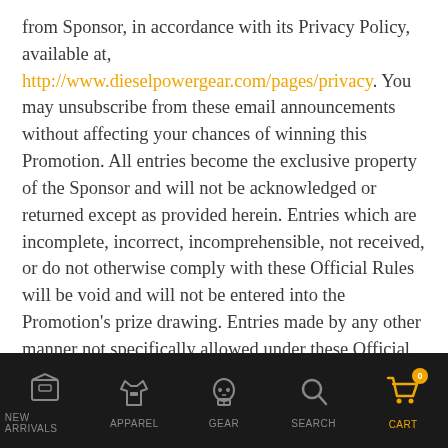from Sponsor, in accordance with its Privacy Policy, available at, http://www.dieselpowergear.com/pages/privacy. You may unsubscribe from these email announcements without affecting your chances of winning this Promotion. All entries become the exclusive property of the Sponsor and will not be acknowledged or returned except as provided herein. Entries which are incomplete, incorrect, incomprehensible, not received, or do not otherwise comply with these Official Rules will be void and will not be entered into the Promotion's prize drawing. Entries made by any other manner not specifically allowed under these Official Rules will not be entered
[Figure (screenshot): Mobile app bottom navigation bar with icons: New Arrivals (box icon), Apparel (shirt icon), Gear (skull icon), Search (magnifying glass icon), Cart (shopping cart icon with badge showing 0). Dark background, Cart icon and label in orange.]